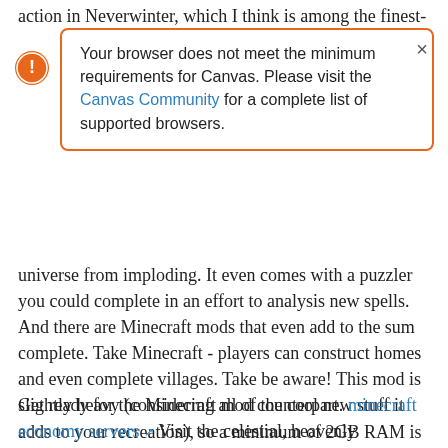action in Neverwinter, which I think is among the finest-
Your browser does not meet the minimum requirements for Canvas. Please visit the Canvas Community for a complete list of supported browsers.
universe from imploding. It even comes with a puzzler you could complete in an effort to analysis new spells. And there are Minecraft mods that even add to the sum complete. Take Minecraft - players can construct homes and even complete villages. Take be aware! This mod is slightly heavy (considering all of the cool new stuff it adds to your recreation), so a minimum of 2GB RAM is required to ensure that it to run correctly. For Minecraft players struggling to get Minecraft operating at cheap speeds, you may want to think about FastCraft on your next download.
Get ready for the Minecraft mod counterpart. minecraft economy servers Visit the celestial, heavenly counterpart